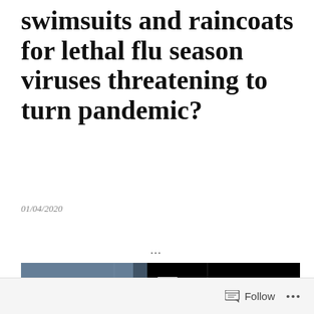swimsuits and raincoats for lethal flu season viruses threatening to turn pandemic?
01/04/2020
...
[Figure (photo): Dark photograph showing what appears to be a spacecraft or vessel with spherical objects bundled together in a net or cage structure against a black background. A red stripe and cylindrical elements are visible.]
Follow ...